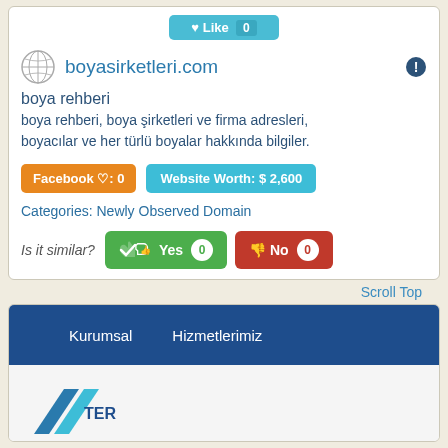[Figure (screenshot): Like button with count 0, teal/cyan colored button at top of card]
boyasirketleri.com
boya rehberi
boya rehberi, boya şirketleri ve firma adresleri, boyacılar ve her türlü boyalar hakkında bilgiler.
Facebook ♡: 0
Website Worth: $ 2,600
Categories: Newly Observed Domain
Is it similar?
Yes 0
No 0
Scroll Top
[Figure (screenshot): Website screenshot showing a dark blue navigation bar with Kurumsal and Hizmetlerimiz menu items, and a partial logo below on white background]